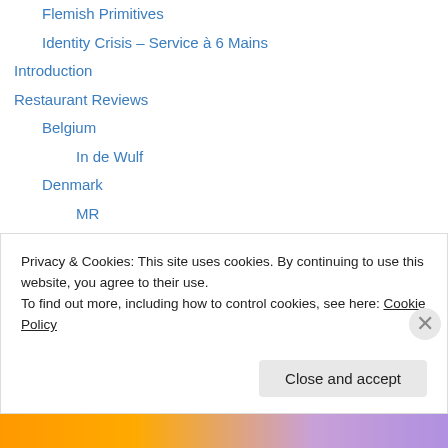Flemish Primitives
Identity Crisis – Service à 6 Mains
Introduction
Restaurant Reviews
Belgium
In de Wulf
Denmark
MR
Noma (2)
Restaurant Paustian v. Bo Bech
Søllerød Kro
France
Outside Paris
Privacy & Cookies: This site uses cookies. By continuing to use this website, you agree to their use. To find out more, including how to control cookies, see here: Cookie Policy